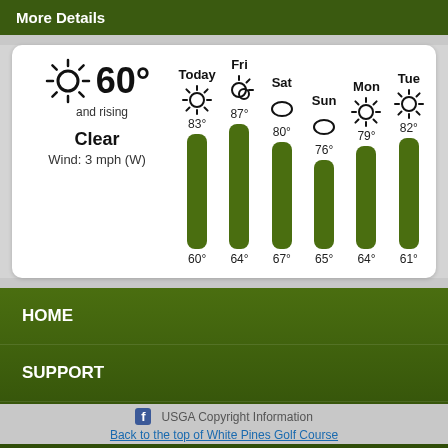More Details
[Figure (infographic): Weather widget showing current conditions (60°, Clear, Wind: 3 mph (W)) and 6-day forecast with temperature range bars for Today, Fri, Sat, Sun, Mon, Tue]
HOME
SUPPORT
FAQ's
f  USGA Copyright Information  Back to the top of White Pines Golf Course